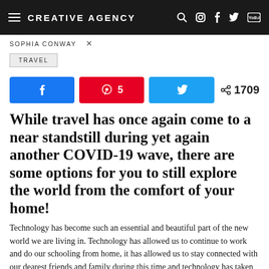CREATIVE AGENCY
SOPHIA CONWAY ✕
TRAVEL
[Figure (infographic): Social share buttons row: Facebook share button (blue), Pinterest button with '5' (red), Twitter share button (light blue), and share count '1709']
While travel has once again come to a near standstill during yet again another COVID-19 wave, there are some options for you to still explore the world from the comfort of your home!
Technology has become such an essential and beautiful part of the new world we are living in. Technology has allowed us to continue to work and do our schooling from home, it has allowed us to stay connected with our dearest friends and family during this time and technology has taken